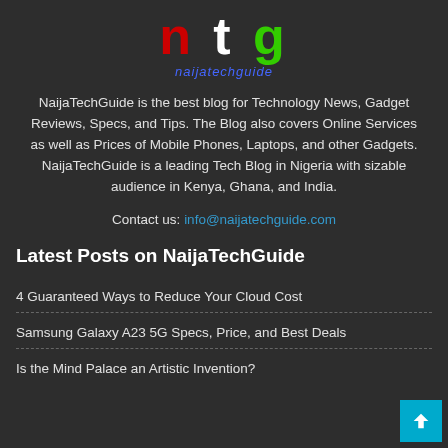[Figure (logo): NaijaTechGuide logo with letters n (red), t (white), g (green) in large bold font, with 'naijatechguide' in blue italic below]
NaijaTechGuide is the best blog for Technology News, Gadget Reviews, Specs, and Tips. The Blog also covers Online Services as well as Prices of Mobile Phones, Laptops, and other Gadgets. NaijaTechGuide is a leading Tech Blog in Nigeria with sizable audience in Kenya, Ghana, and India.
Contact us: info@naijatechguide.com
Latest Posts on NaijaTechGuide
4 Guaranteed Ways to Reduce Your Cloud Cost
Samsung Galaxy A23 5G Specs, Price, and Best Deals
Is the Mind Palace an Artistic Invention?